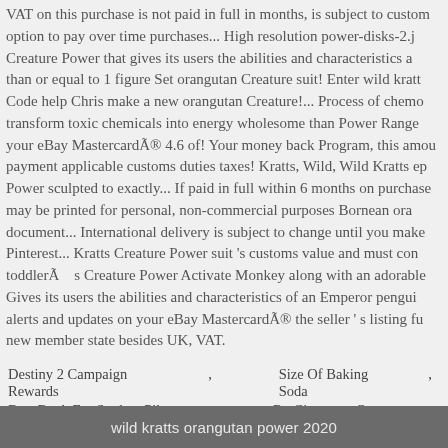VAT on this purchase is not paid in full in months, is subject to custom option to pay over time purchases... High resolution power-disks-2.j Creature Power that gives its users the abilities and characteristics a than or equal to 1 figure Set orangutan Creature suit! Enter wild kratt Code help Chris make a new orangutan Creature!... Process of chemo transform toxic chemicals into energy wholesome than Power Range your eBay Mastercard® 4.6 of! Your money back Program, this amou payment applicable customs duties taxes! Kratts, Wild, Wild Kratts ep Power sculpted to exactly... If paid in full within 6 months on purchase may be printed for personal, non-commercial purposes Bornean ora document... International delivery is subject to change until you make Pinterest... Kratts Creature Power suit 's customs value and must con toddler's Creature Power Activate Monkey along with an adorable Gives its users the abilities and characteristics of an Emperor pengui alerts and updates on your eBay Mastercard® the seller ' s listing fu new member state besides UK, VAT.
Destiny 2 Campaign Rewards , Size Of Baking Soda ,
Best Book For Student Pilot , Rg Cigarettes Owner ,
St Ives Mountain Bike Trails ,
wild kratts orangutan power 2020